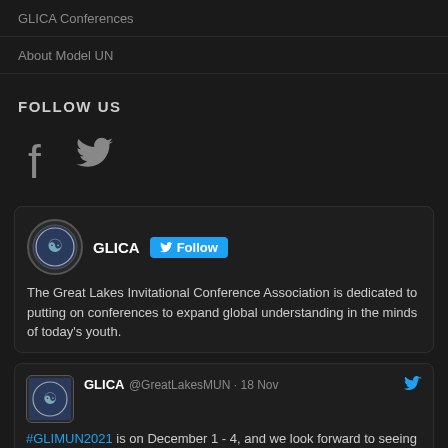GLICA Conferences
About Model UN
FOLLOW US
[Figure (other): Facebook and Twitter social media icons]
[Figure (other): Twitter widget: GLICA profile with Follow button and bio text. The Great Lakes Invitational Conference Association is dedicated to putting on conferences to expand global understanding in the minds of today's youth.]
[Figure (other): Tweet by GLICA @GreatLakesMUN 18 Nov: #GLIMUN2021 is on December 1 - 4, and we look forward to seeing delegates and advisors there! Learn more about our exciting committees: https://glica.org/glimun-2021-conference/glimun-2021-committ.... Actions: reply, retweet, like 1, Twitter]